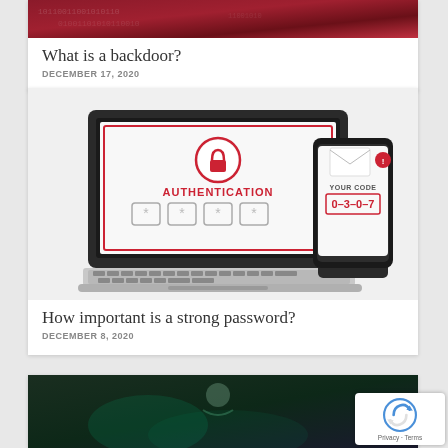[Figure (illustration): Partial top image of a card about backdoors - dark red/maroon cybersecurity themed image]
What is a backdoor?
DECEMBER 17, 2020
[Figure (illustration): Authentication illustration showing a laptop with a login screen displaying AUTHENTICATION and four password input boxes with asterisks, and a hand holding a smartphone showing YOUR CODE 0-3-0-7 with an email notification]
How important is a strong password?
DECEMBER 8, 2020
[Figure (photo): Partial bottom card image with dark teal/green cybersecurity themed photo]
[Figure (logo): reCAPTCHA badge in bottom right corner with Privacy and Terms links]